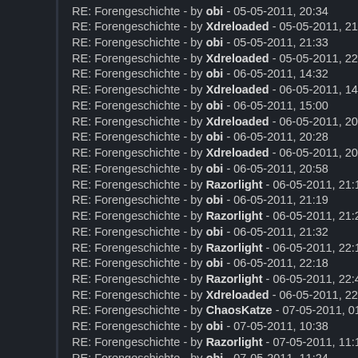RE: Forengeschichte - by obi - 05-05-2011, 20:34
RE: Forengeschichte - by Xdreloaded - 05-05-2011, 21:27
RE: Forengeschichte - by obi - 05-05-2011, 21:33
RE: Forengeschichte - by Xdreloaded - 05-05-2011, 22:08
RE: Forengeschichte - by obi - 06-05-2011, 14:32
RE: Forengeschichte - by Xdreloaded - 06-05-2011, 14:56
RE: Forengeschichte - by obi - 06-05-2011, 15:00
RE: Forengeschichte - by Xdreloaded - 06-05-2011, 20:25
RE: Forengeschichte - by obi - 06-05-2011, 20:28
RE: Forengeschichte - by Xdreloaded - 06-05-2011, 20:48
RE: Forengeschichte - by obi - 06-05-2011, 20:58
RE: Forengeschichte - by Razorlight - 06-05-2011, 21:18
RE: Forengeschichte - by obi - 06-05-2011, 21:19
RE: Forengeschichte - by Razorlight - 06-05-2011, 21:26
RE: Forengeschichte - by obi - 06-05-2011, 21:32
RE: Forengeschichte - by Razorlight - 06-05-2011, 22:15
RE: Forengeschichte - by obi - 06-05-2011, 22:18
RE: Forengeschichte - by Razorlight - 06-05-2011, 22:42
RE: Forengeschichte - by Xdreloaded - 06-05-2011, 22:56
RE: Forengeschichte - by ChaosKatze - 07-05-2011, 01:39
RE: Forengeschichte - by obi - 07-05-2011, 10:38
RE: Forengeschichte - by Razorlight - 07-05-2011, 11:10
RE: Forengeschichte - by obi - 07-05-2011, 11:24
RE: Forengeschichte - by Razorlight - 07-05-2011, 11:46
RE: Forengeschichte - by obi - 07-05-2011, 11:48